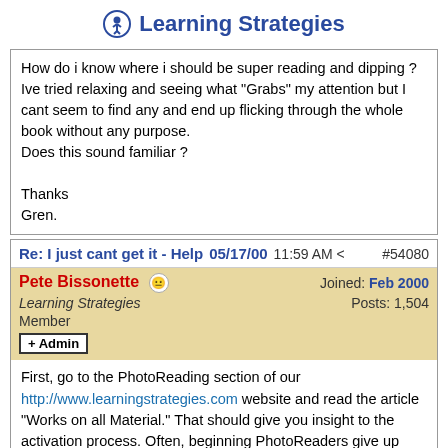Learning Strategies
How do i know where i should be super reading and dipping ? Ive tried relaxing and seeing what "Grabs" my attention but I cant seem to find any and end up flicking through the whole book without any purpose.
Does this sound familiar ?

Thanks
Gren.
Re: I just cant get it - Help  05/17/00  11:59 AM  #54080
Pete Bissonette
Learning Strategies
Member
+Admin
Joined: Feb 2000
Posts: 1,504
First, go to the PhotoReading section of our http://www.learningstrategies.com website and read the article "Works on all Material." That should give you insight to the activation process. Often, beginning PhotoReaders give up activation too soon in the process.

Then come back and ask more questions.